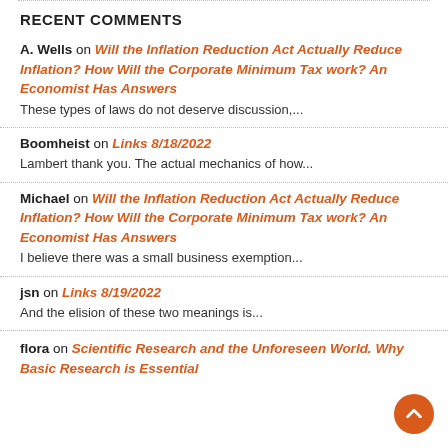RECENT COMMENTS
A. Wells on Will the Inflation Reduction Act Actually Reduce Inflation? How Will the Corporate Minimum Tax work? An Economist Has Answers — These types of laws do not deserve discussion,...
Boomheist on Links 8/18/2022 — Lambert thank you. The actual mechanics of how...
Michael on Will the Inflation Reduction Act Actually Reduce Inflation? How Will the Corporate Minimum Tax work? An Economist Has Answers — I believe there was a small business exemption...
jsn on Links 8/19/2022 — And the elision of these two meanings is...
flora on Scientific Research and the Unforeseen World. Why Basic Research is Essential